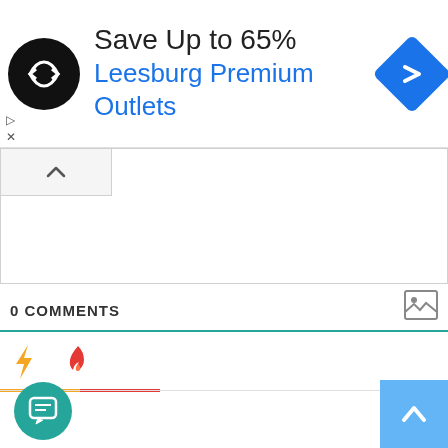[Figure (screenshot): Advertisement banner for Leesburg Premium Outlets showing a black circular logo with infinity-like arrows symbol, text 'Save Up to 65%' and 'Leesburg Premium Outlets' in blue, and a blue diamond-shaped navigation icon on the right. Small ad controls (play and close icons) on the left.]
[Figure (screenshot): Collapsed content panel with a caret-up (^) button at top left indicating a collapsible section. Empty white content area below.]
[Figure (screenshot): Small image/photo placeholder icon (landscape image icon) in gray at the right side.]
0 COMMENTS
[Figure (screenshot): Tab bar with a yellow lightning bolt icon and an orange/red flame icon, with colored tab indicator bars below (orange and red gradient).]
[Figure (screenshot): Green circular chat/comment button at bottom left, and a light blue square scroll-to-top button at bottom right with an upward chevron.]